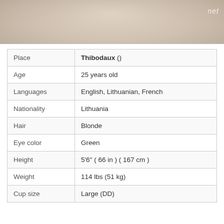[Figure (photo): Partial photo of a person in white lace clothing, cropped at top of page with watermark text visible]
| Attribute | Value |
| --- | --- |
| Place | Thibodaux () |
| Age | 25 years old |
| Languages | English, Lithuanian, French |
| Nationality | Lithuania |
| Hair | Blonde |
| Eye color | Green |
| Height | 5'6" ( 66 in ) ( 167 cm ) |
| Weight | 114 lbs (51 kg) |
| Cup size | Large (DD) |